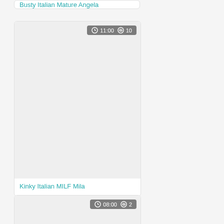Busty Italian Mature Angela
[Figure (screenshot): Video thumbnail card with badge showing 11:00 duration and 10 views]
Kinky Italian MILF Mila
[Figure (screenshot): Video thumbnail card with badge showing 11:00 duration and 2 views]
Hot Babe takes A REAL
[Figure (screenshot): Video thumbnail card with badge showing 08:00 duration and 2 views]